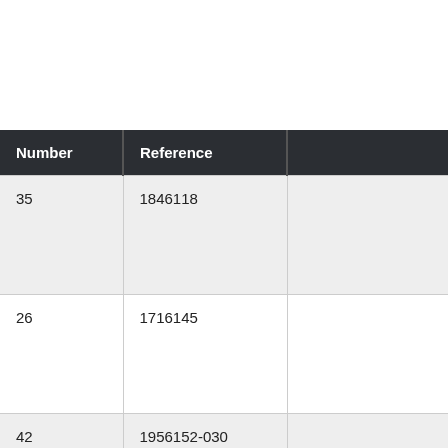| Number | Reference |  |
| --- | --- | --- |
| 35 | 1846118 |  |
| 26 | 1716145 |  |
| 42 | 1956152-030 |  |